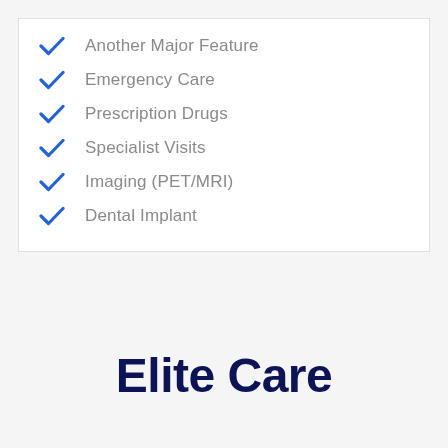Another Major Feature
Emergency Care
Prescription Drugs
Specialist Visits
Imaging (PET/MRI)
Dental Implant
Elite Care